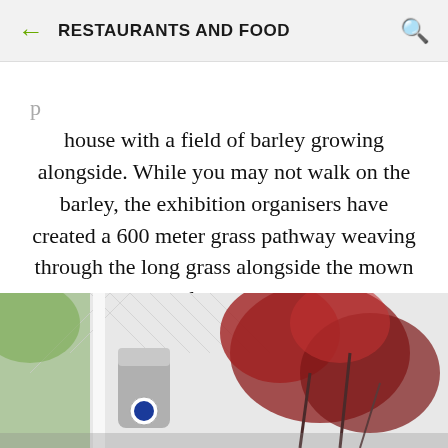RESTAURANTS AND FOOD
house with a field of barley growing alongside. While you may not walk on the barley, the exhibition organisers have created a 600 meter grass pathway weaving through the long grass alongside the mown sculpture area.
[Figure (photo): Outdoor photo showing reddish-leafed plant in foreground, white lattice fence, a grey cylindrical object with a blue circular element, and tall white poles with trees in background.]